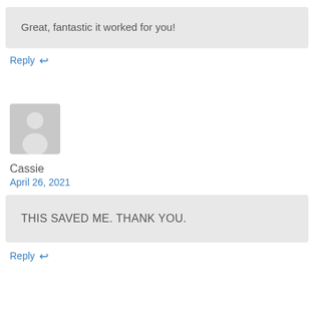Great, fantastic it worked for you!
Reply ↩
[Figure (illustration): Generic user avatar silhouette on gray background]
Cassie
April 26, 2021
THIS SAVED ME. THANK YOU.
Reply ↩